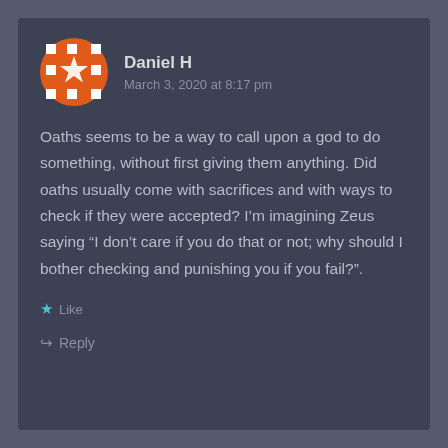Daniel H
March 3, 2020 at 8:17 pm
Oaths seems to be a way to call upon a god to do something, without first giving them anything. Did oaths usually come with sacrifices and with ways to check if they were accepted? I’m imagining Zeus saying “I don’t care if you do that or not; why should I bother checking and punishing you if you fail?”.
Like
Reply